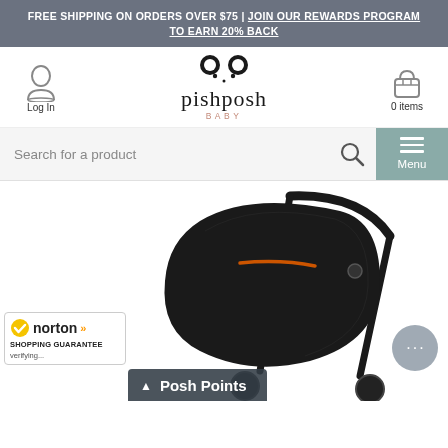FREE SHIPPING ON ORDERS OVER $75 | JOIN OUR REWARDS PROGRAM TO EARN 20% BACK
[Figure (logo): Pishposh Baby logo with panda ears icon above text 'pishposh' and 'BABY' in pink]
Log In
0 items
Search for a product
Menu
[Figure (photo): A dark/black baby stroller with orange accents, canopy fully raised, against white background]
[Figure (logo): Norton Shopping Guarantee badge with yellow checkmark, verifying...]
Posh Points